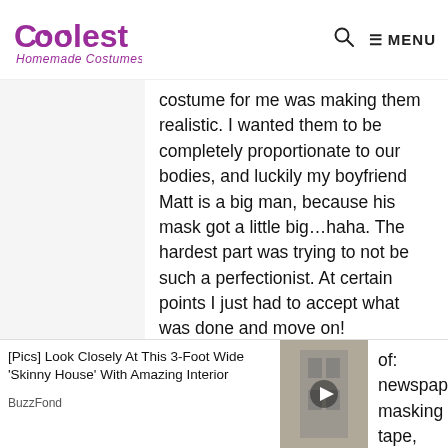Coolest Homemade Costumes — MENU
costume for me was making them realistic. I wanted them to be completely proportionate to our bodies, and luckily my boyfriend Matt is a big man, because his mask got a little big…haha. The hardest part was trying to not be such a perfectionist. At certain points I just had to accept what was done and move on!
People's reactions to them were priceless. At some points we had a line of 3 or 4 people waiting to take a picture with us, I thought that was pretty awesome!
[Figure (infographic): Advertisement: [Pics] Look Closely At This 3-Foot Wide 'Skinny House' With Amazing Interior — BuzzFond, with a thumbnail image and play button]
of: newspaper, masking tape, plaster wrap, spackle, plaster of Paris, and model